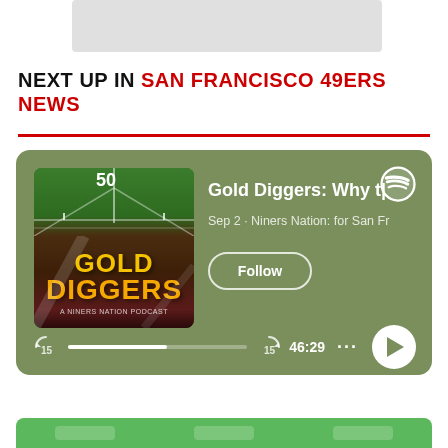[Figure (screenshot): Blurred/thumbnail image at the top of the page]
NEXT UP IN SAN FRANCISCO 49ERS NEWS
[Figure (screenshot): Spotify podcast player card with green background showing 'Gold Diggers' podcast. Album art shows a football field with Gold Diggers text. Episode title: 'Gold Diggers: Why t...' by Niners Nation: for San Fr... Sep 2. Follow button, progress bar at 46:29, and play button visible.]